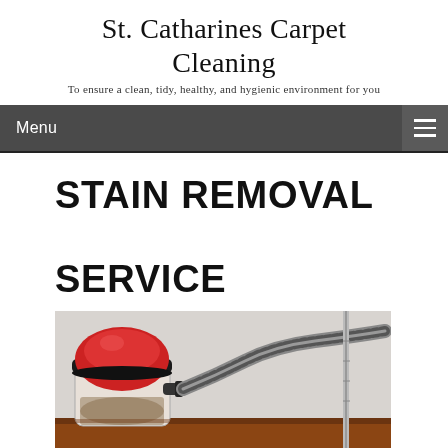St. Catharines Carpet Cleaning
To ensure a clean, tidy, healthy, and hygienic environment for you
Menu
STAIN REMOVAL SERVICE
[Figure (photo): Red and black wet/dry vacuum cleaner with hose attachment on a surface, close-up shot]